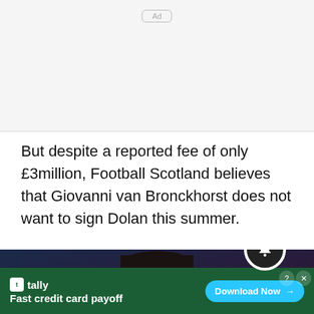[Figure (other): Advertisement placeholder box with 'Ad' label]
But despite a reported fee of only £3million, Football Scotland believes that Giovanni van Bronckhorst does not want to sign Dolan this summer.
[Figure (photo): Photo of a man (Giovanni van Bronckhorst) with dark hair against a dark blurred background]
[Figure (other): Tally advertisement banner: 'Fast credit card payoff' with 'Download Now' button]